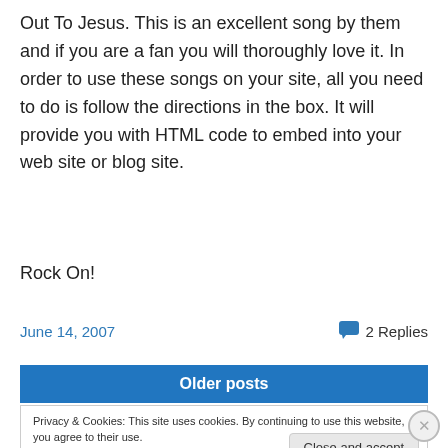Out To Jesus. This is an excellent song by them and if you are a fan you will thoroughly love it. In order to use these songs on your site, all you need to do is follow the directions in the box. It will provide you with HTML code to embed into your web site or blog site.
Rock On!
June 14, 2007
2 Replies
Older posts
Privacy & Cookies: This site uses cookies. By continuing to use this website, you agree to their use.
To find out more, including how to control cookies, see here: Cookie Policy
Close and accept